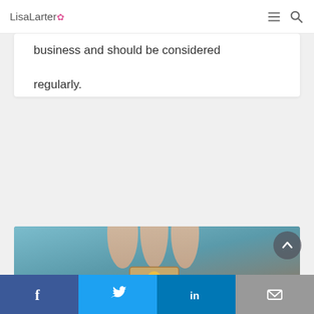LisaLarter
business and should be considered regularly.
[Figure (infographic): Social media share buttons: Facebook (blue), Twitter (light blue), Pinterest (red), LinkedIn (blue)]
READ MORE
[Figure (photo): Hands holding a wooden block with a smiley face, on a teal/blue background]
[Figure (infographic): Bottom share bar with Facebook, Twitter, LinkedIn, and email icons]